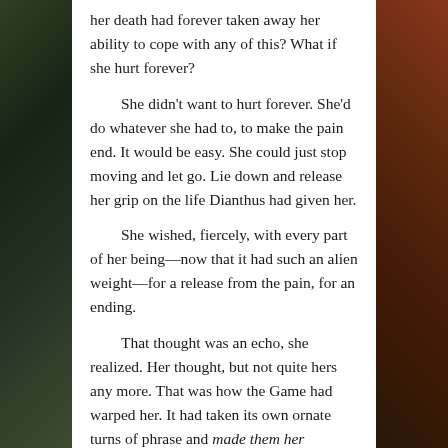her death had forever taken away her ability to cope with any of this? What if she hurt forever?

She didn't want to hurt forever. She'd do whatever she had to, to make the pain end. It would be easy. She could just stop moving and let go. Lie down and release her grip on the life Dianthus had given her.

She wished, fiercely, with every part of her being—now that it had such an alien weight—for a release from the pain, for an ending.

That thought was an echo, she realized. Her thought, but not quite hers any more. That was how the Game had warped her. It had taken its own ornate turns of phrase and made them her thoughts.

Making the pain end, that was dying, and then the Game would still have won. How could she give